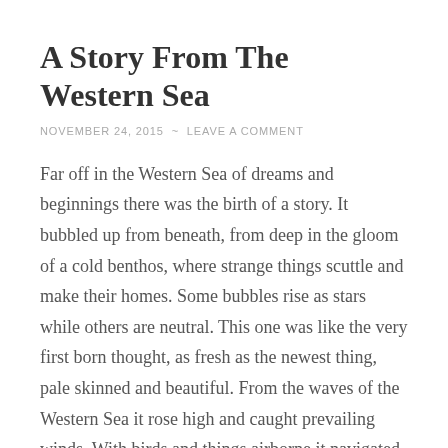A Story From The Western Sea
NOVEMBER 24, 2015 ~ LEAVE A COMMENT
Far off in the Western Sea of dreams and beginnings there was the birth of a story. It bubbled up from beneath, from deep in the gloom of a cold benthos, where strange things scuttle and make their homes. Some bubbles rise as stars while others are neutral. This one was like the very first born thought, as fresh as the newest thing, pale skinned and beautiful. From the waves of the Western Sea it rose high and caught prevailing winds. With birds and things airborne it navigated the Coriolis force and felt the call of land like a heart beat in its body. For days it watched and winged on blue ether and mist.